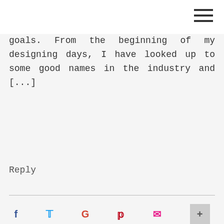goals. From the beginning of my designing days, I have looked up to some good names in the industry and [...]
Reply
LEAVE A REPLY
Your email address will not be published. Required fields are